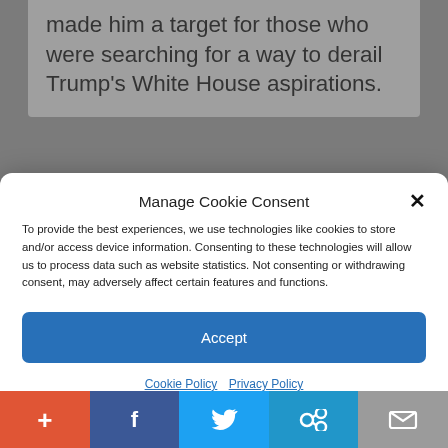made him a target for those who were searching for a way to derail Trump's White House aspirations.
Manage Cookie Consent
To provide the best experiences, we use technologies like cookies to store and/or access device information. Consenting to these technologies will allow us to process data such as website statistics. Not consenting or withdrawing consent, may adversely affect certain features and functions.
Accept
Cookie Policy  Privacy Policy